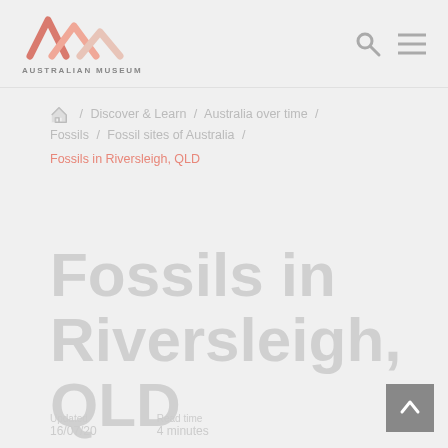[Figure (logo): Australian Museum logo — stylized mountain/wave shapes in salmon/terracotta pink and peach tones, with text AUSTRALIAN MUSEUM below]
AUSTRALIAN MUSEUM
Home / Discover & Learn / Australia over time / Fossils / Fossil sites of Australia / Fossils in Riversleigh, QLD
Fossils in Riversleigh, QLD
Updated
16/07/20
Read time
4 minutes